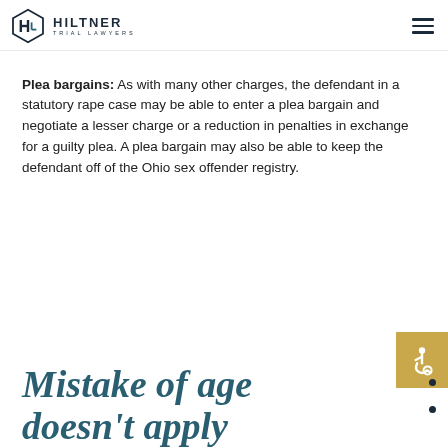Hiltner Trial Lawyers
Plea bargains: As with many other charges, the defendant in a statutory rape case may be able to enter a plea bargain and negotiate a lesser charge or a reduction in penalties in exchange for a guilty plea. A plea bargain may also be able to keep the defendant off of the Ohio sex offender registry.
Mistake of age doesn't apply